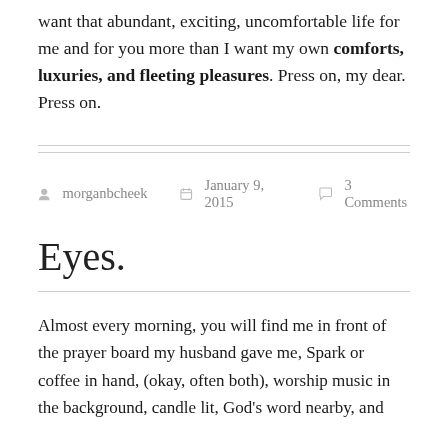want that abundant, exciting, uncomfortable life for me and for you more than I want my own comforts, luxuries, and fleeting pleasures. Press on, my dear. Press on.
morganbcheek   January 9, 2015   3 Comments
Eyes.
Almost every morning, you will find me in front of the prayer board my husband gave me, Spark or coffee in hand, (okay, often both), worship music in the background, candle lit, God's word nearby, and